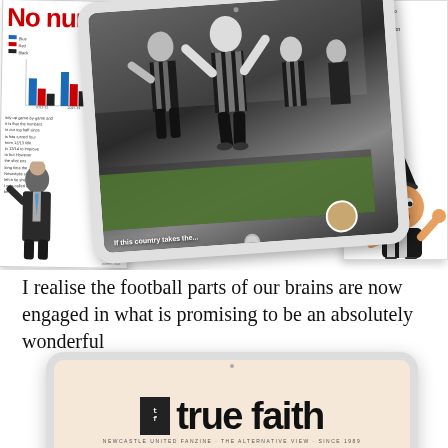[Figure (photo): A collage of digital tablets and magazine pages showing football/soccer content including: a bar chart on a white newspaper page, a black and white photo of football players celebrating on a tablet, a manager figure, a green football card strip, text excerpts, and a cartoon mascot figure]
I realise the football parts of our brains are now engaged in what is promising to be an absolutely wonderful
[Figure (photo): An iPad/tablet device showing the 'true faith' magazine logo on a light peach/cream background. The logo consists of a small square icon and large bold text reading 'true faith' with a subtitle tagline below.]